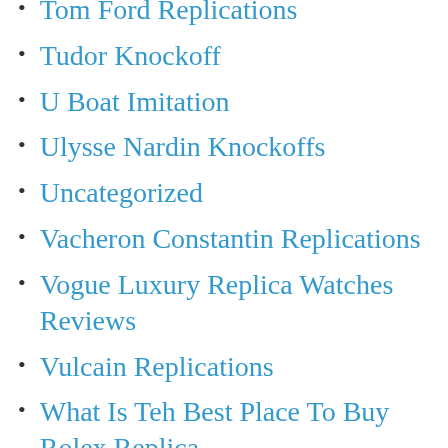Tom Ford Replications
Tudor Knockoff
U Boat Imitation
Ulysse Nardin Knockoffs
Uncategorized
Vacheron Constantin Replications
Vogue Luxury Replica Watches Reviews
Vulcain Replications
What Is Teh Best Place To Buy Rolex Replica
Where Can I Buy A High Line Replica Rolex Watch An
Where To Buy The Best Quality Replica Hublot
Who Sells Mont Blanc Nicolas Rieussec Twin-barrel
Wholesale Fake Bentley Watches